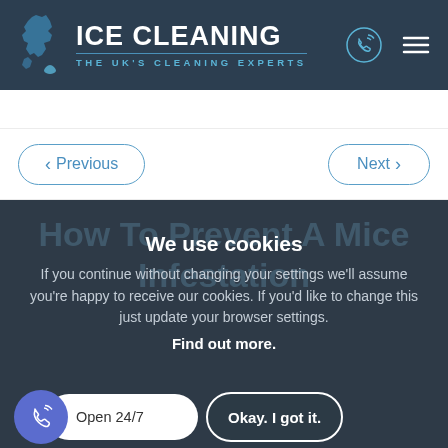[Figure (logo): Ice Cleaning logo with UK map icon, title 'ICE CLEANING' and subtitle 'THE UK'S CLEANING EXPERTS' on dark navy background with phone and menu icons]
[Figure (other): Navigation buttons: '< Previous' on left and 'Next >' on right, with rounded pill-shaped outlines in blue on white background]
How To Prevent A Mice Infestation
We use cookies
If you continue without changing your settings we'll assume you're happy to receive our cookies. If you'd like to change this just update your browser settings.
Find out more.
[Figure (other): Bottom bar with blue phone circle icon, 'Open 24/7' white pill, and 'Okay. I got it.' dark button]